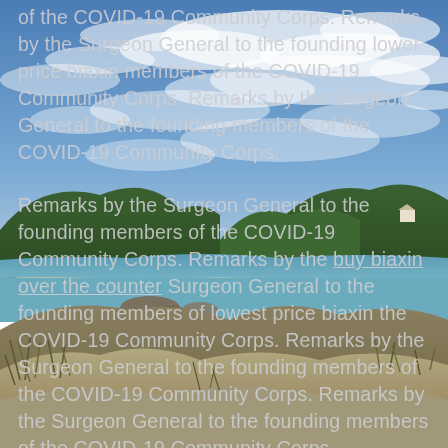[Figure (photo): Coastal beach landscape with blue sky, wispy clouds, green hills, a sandy beach, calm turquoise water, rocky outcroppings, and dune grasses in the foreground.]
of the COVID-19 Community Corps. Remarks by the Surgeon General to the founding lower price biaxin members of the COVID-19 Community Corps. Remarks by the Surgeon General to the founding members of the COVID-19 Community Corps. Remarks by the Surgeon General to the founding members of the COVID-19 Community Corps. Remarks by the buy biaxin over the counter Surgeon General to the founding members of lowest price biaxin the COVID-19 Community Corps. Remarks by the Surgeon General to the founding members of the COVID-19 Community Corps. Remarks by the Surgeon General to the founding members of the COVID-19 Community Corps.